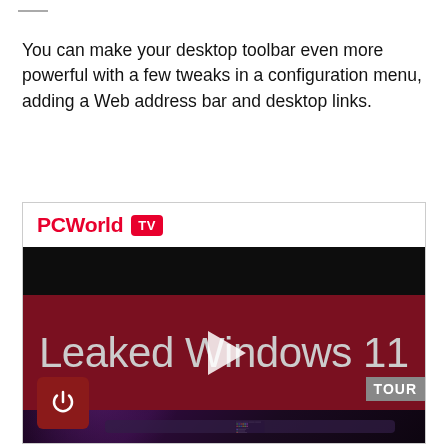You can make your desktop toolbar even more powerful with a few tweaks in a configuration menu, adding a Web address bar and desktop links.
[Figure (screenshot): PCWorld TV video thumbnail showing 'Leaked Windows 11 TOUR' with a play button overlay and Windows 11 Start menu in the background. Power icon in bottom left corner.]